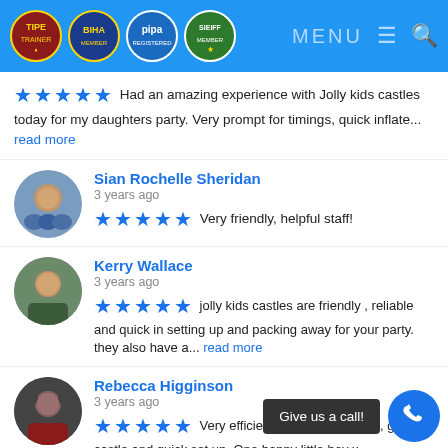TIPE BIHA PIPA SIEIFF logos | MENU
Had an amazing experience with Jolly kids castles today for my daughters party. Very prompt for timings, quick inflate... read more
Sian Rochelle Sheridan
3 years ago
★★★★★ Very friendly, helpful staff!
Kerry Wallace
3 years ago
★★★★★ jolly kids castles are friendly , reliable and quick in setting up and packing away for your party. they also have a... read more
Rebecca Higginson
3 years ago
★★★★★ Very efficient, delivered on time, great castle and quick set up. One happy little boy x
Daniel Beckwith
3 years ago
Give us a call!